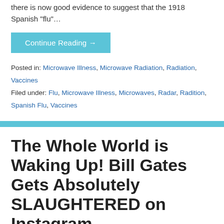there is now good evidence to suggest that the 1918 Spanish “flu”…
Continue Reading →
Posted in: Microwave Illness, Microwave Radiation, Radiation, Vaccines
Filed under: Flu, Microwave Illness, Microwaves, Radar, Radition, Spanish Flu, Vaccines
The Whole World is Waking Up! Bill Gates Gets Absolutely SLAUGHTERED on Instagram
April 13, 2020